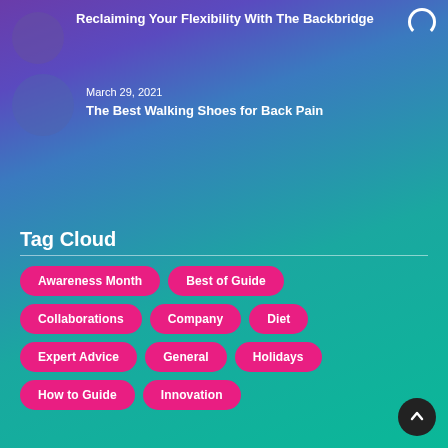[Figure (illustration): Circular thumbnail image placeholder with purple-blue gradient background for article about Backbridge]
Reclaiming Your Flexibility With The Backbridge
[Figure (illustration): Spinning/loading arc icon in top-right corner]
[Figure (illustration): Circular thumbnail image placeholder with blue gradient background for walking shoes article]
March 29, 2021
The Best Walking Shoes for Back Pain
Tag Cloud
Awareness Month
Best of Guide
Collaborations
Company
Diet
Expert Advice
General
Holidays
How to Guide
Innovation